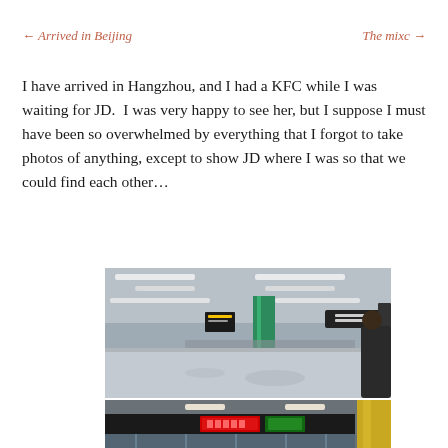← Arrived in Beijing    The mixc →
I have arrived in Hangzhou, and I had a KFC while I was waiting for JD.  I was very happy to see her, but I suppose I must have been so overwhelmed by everything that I forgot to take photos of anything, except to show JD where I was so that we could find each other…
[Figure (photo): Interior of Hangzhou airport terminal showing large open hall with green pillars, overhead signs, and travelers in background]
[Figure (photo): Airport exit gate area with illuminated red and green signs showing Chinese characters, yellow accent pillar on right]